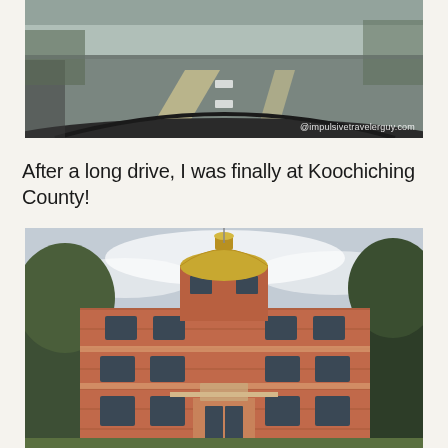[Figure (photo): View from inside a car through the windshield looking at a highway road with white lane markings, taken while driving. Dashboard visible at bottom of frame.]
After a long drive, I was finally at Koochiching County!
[Figure (photo): Exterior view of a historic red brick building with a golden dome/cupola on top, surrounded by trees. The building appears to be a county courthouse with classical architectural details including arched windows and ornate stonework.]